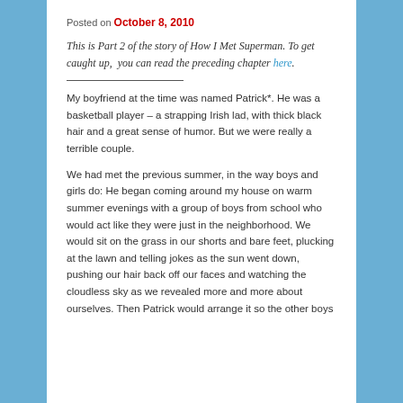Posted on October 8, 2010
This is Part 2 of the story of How I Met Superman. To get caught up,  you can read the preceding chapter here.
My boyfriend at the time was named Patrick*. He was a basketball player – a strapping Irish lad, with thick black hair and a great sense of humor. But we were really a terrible couple.
We had met the previous summer, in the way boys and girls do: He began coming around my house on warm summer evenings with a group of boys from school who would act like they were just in the neighborhood. We would sit on the grass in our shorts and bare feet, plucking at the lawn and telling jokes as the sun went down, pushing our hair back off our faces and watching the cloudless sky as we revealed more and more about ourselves. Then Patrick would arrange it so the other boys